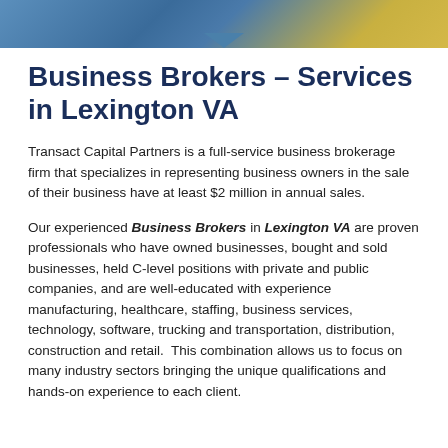[Figure (photo): Top banner image showing a partial scene in blue and gold/yellow tones with a downward-pointing chevron at the bottom center]
Business Brokers – Services in Lexington VA
Transact Capital Partners is a full-service business brokerage firm that specializes in representing business owners in the sale of their business have at least $2 million in annual sales.
Our experienced Business Brokers in Lexington VA are proven professionals who have owned businesses, bought and sold businesses, held C-level positions with private and public companies, and are well-educated with experience manufacturing, healthcare, staffing, business services, technology, software, trucking and transportation, distribution, construction and retail.  This combination allows us to focus on many industry sectors bringing the unique qualifications and hands-on experience to each client.